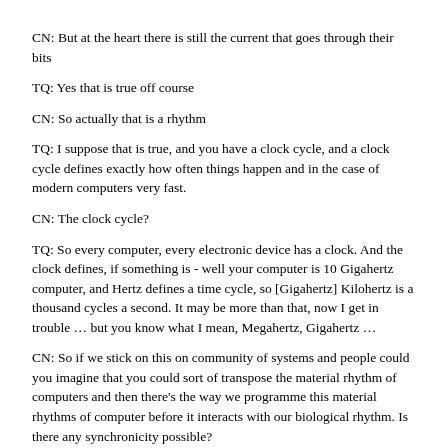CN: But at the heart there is still the current that goes through their bits
TQ: Yes that is true off course
CN: So actually that is a rhythm
TQ: I suppose that is true, and you have a clock cycle, and a clock cycle defines exactly how often things happen and in the case of modern computers very fast.
CN: The clock cycle?
TQ: So every computer, every electronic device has a clock. And the clock defines, if something is - well your computer is 10 Gigahertz computer, and Hertz defines a time cycle, so [Gigahertz] Kilohertz is a thousand cycles a second. It may be more than that, now I get in trouble … but you know what I mean, Megahertz, Gigahertz …
CN: So if we stick on this on community of systems and people could you imagine that you could sort of transpose the material rhythm of computers and then there's the way we programme this material rhythms of computer before it interacts with our biological rhythm. Is there any synchronicity possible?
TQ: I don't know, I can't see how it could be. Humans operate on a completely different rhythm to computers. We are very irregular, I know we have certain regular intervals as well..
CN: And what do you think will happen if these two meet?